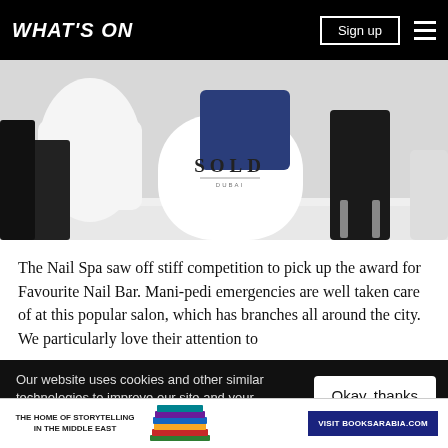WHAT'S ON  Sign up
[Figure (photo): Interior of a nail salon showing white chairs, one with a 'SOLD' logo cushion/sign, a dark blue jacket draped over the back, and salon equipment on white tables.]
The Nail Spa saw off stiff competition to pick up the award for Favourite Nail Bar. Mani-pedi emergencies are well taken care of at this popular salon, which has branches all around the city. We particularly love their attention to
Our website uses cookies and other similar technologies to improve our site and your online experience. By continuing to use our website you conse... our pr...
Okay, thanks
THE HOME OF STORYTELLING IN THE MIDDLE EAST   VISIT BOOKSARABIA.COM